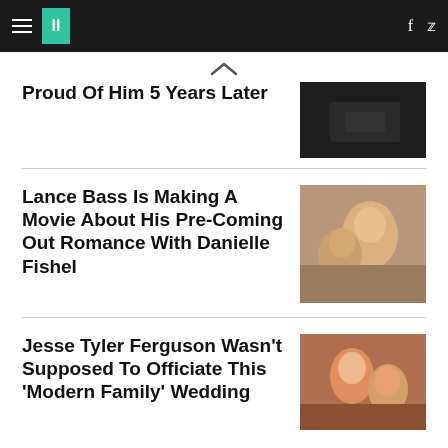HuffPost navigation
Proud Of Him 5 Years Later
Lance Bass Is Making A Movie About His Pre-Coming Out Romance With Danielle Fishel
Jesse Tyler Ferguson Wasn't Supposed To Officiate This 'Modern Family' Wedding